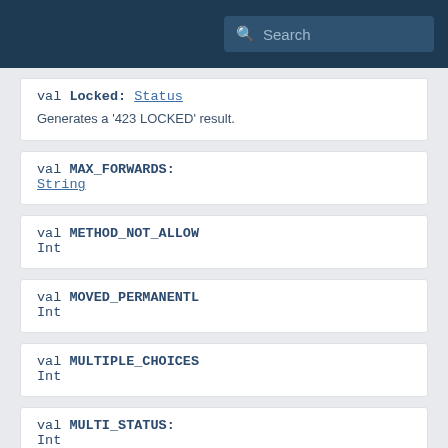Search
val Locked: Status
Generates a '423 LOCKED' result.
val MAX_FORWARDS: String
val METHOD_NOT_ALLOW...: Int
val MOVED_PERMANENTLY...: Int
val MULTIPLE_CHOICES...: Int
val MULTI_STATUS: Int
val MethodNotAllowed...: Status
Generates a '405 METHOD NOT ALLO...